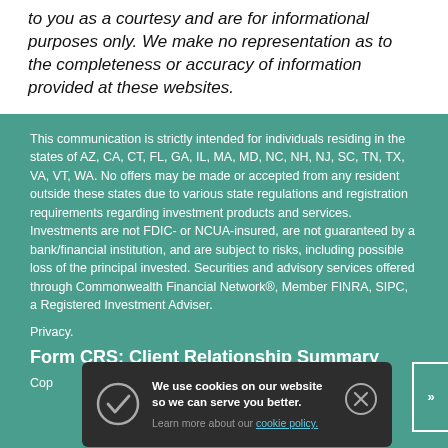to you as a courtesy and are for informational purposes only. We make no representation as to the completeness or accuracy of information provided at these websites.
This communication is strictly intended for individuals residing in the states of AZ, CA, CT, FL, GA, IL, MA, MD, NC, NH, NJ, SC, TN, TX, VA, VT, WA. No offers may be made or accepted from any resident outside these states due to various state regulations and registration requirements regarding investment products and services. Investments are not FDIC- or NCUA-insured, are not guaranteed by a bank/financial institution, and are subject to risks, including possible loss of the principal invested. Securities and advisory services offered through Commonwealth Financial Network®, Member FINRA, SIPC, a Registered Investment Adviser.
Privacy.
Form CRS: Client Relationship Summary
Cop...
[Figure (screenshot): Cookie consent banner popup with dark background, checkmark icon, close button, text 'We use cookies on our website so we can serve you better. Learn more about our cookie policy.' and a next/arrow button on the right edge.]
TJB... CT 06035 | F 860.844.8500 | F 860.844.8500